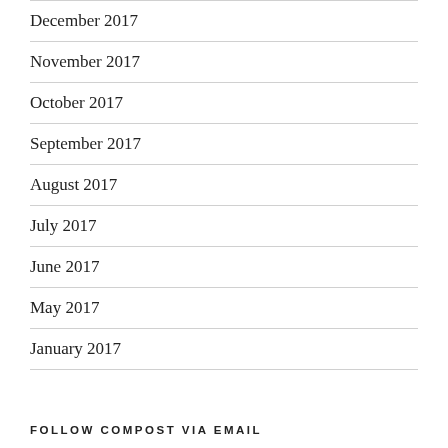December 2017
November 2017
October 2017
September 2017
August 2017
July 2017
June 2017
May 2017
January 2017
FOLLOW COMPOST VIA EMAIL